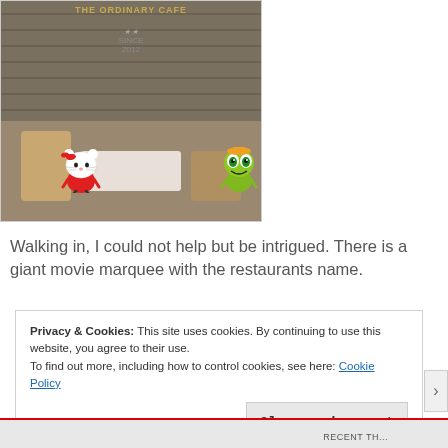[Figure (photo): Photo of The Ordinary Cafe exterior showing a brick wall with the cafe sign 'THE ORDINARY CAFE' and 'SINCE 2012', outdoor seating with chairs and a table, with Hello Kitty and Keroppi cartoon character stickers overlaid]
Walking in, I could not help but be intrigued. There is a giant movie marquee with the restaurants name.
Privacy & Cookies: This site uses cookies. By continuing to use this website, you agree to their use.
To find out more, including how to control cookies, see here: Cookie Policy
Close and accept